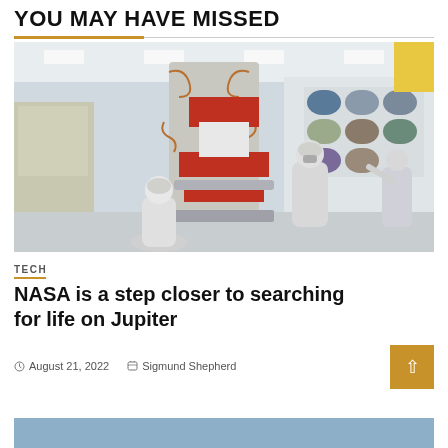YOU MAY HAVE MISSED
[Figure (photo): NASA technicians in white cleanroom suits working on a spacecraft instrument in a cleanroom facility, with mission patches visible on the wall in the background.]
TECH
NASA is a step closer to searching for life on Jupiter
August 21, 2022   Sigmund Shepherd